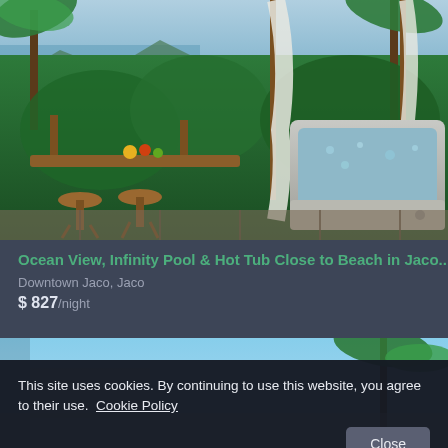[Figure (photo): Outdoor terrace with wooden bar stools and table, white curtains, hot tub/jacuzzi surrounded by tropical jungle, ocean view in background]
Ocean View, Infinity Pool & Hot Tub Close to Beach in Jaco...
Downtown Jaco, Jaco
$ 827 /night
[Figure (photo): Partial view of another property with blue sky and palm trees]
This site uses cookies. By continuing to use this website, you agree to their use.  Cookie Policy